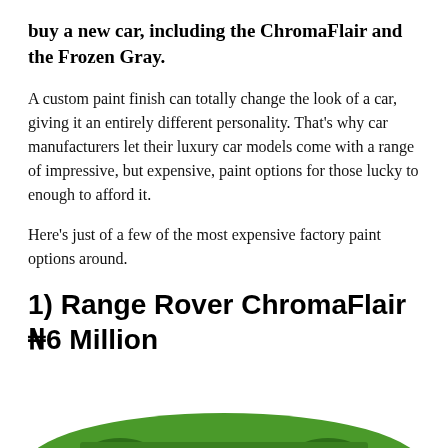buy a new car, including the ChromaFlair and the Frozen Gray.
A custom paint finish can totally change the look of a car, giving it an entirely different personality. That's why car manufacturers let their luxury car models come with a range of impressive, but expensive, paint options for those lucky to enough to afford it.
Here's just of a few of the most expensive factory paint options around.
1) Range Rover ChromaFlair ₦6 Million
[Figure (photo): Partial view of a green car at the bottom of the page]